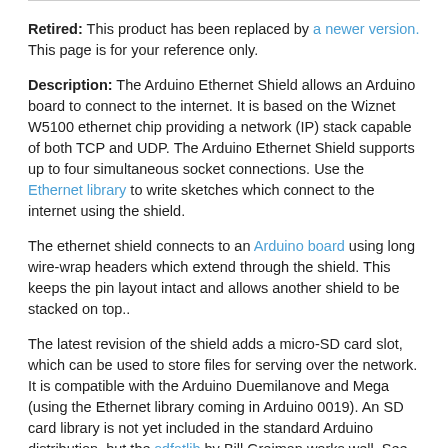Retired: This product has been replaced by a newer version. This page is for your reference only.
Description: The Arduino Ethernet Shield allows an Arduino board to connect to the internet. It is based on the Wiznet W5100 ethernet chip providing a network (IP) stack capable of both TCP and UDP. The Arduino Ethernet Shield supports up to four simultaneous socket connections. Use the Ethernet library to write sketches which connect to the internet using the shield.
The ethernet shield connects to an Arduino board using long wire-wrap headers which extend through the shield. This keeps the pin layout intact and allows another shield to be stacked on top..
The latest revision of the shield adds a micro-SD card slot, which can be used to store files for serving over the network. It is compatible with the Arduino Duemilanove and Mega (using the Ethernet library coming in Arduino 0019). An SD card library is not yet included in the standard Arduino distribution, but the sdfatlib by Bill Greiman works well. See this tutorial from Adafruit Industries for instructions (thanks Limor!).
The latest revision of the shield also includes a reset controller, to ensure that the W5100 Ethernet module is properly reset on power-up.